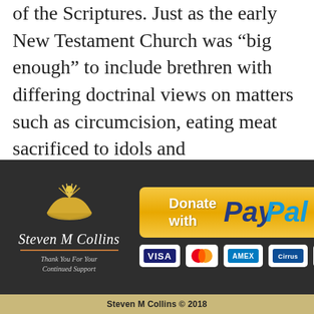of the Scriptures. Just as the early New Testament Church was “big enough” to include brethren with differing doctrinal views on matters such as circumcision, eating meat sacrificed to idols and vegetarianism, our modern churches should be able to handle some doctrinal differences as well.
[Figure (logo): Steven M Collins logo with golden book/wheat icon and italic script name, tagline 'Thank You For Your Continued Support']
[Figure (other): Donate with PayPal button (gold/yellow) and payment card icons: VISA, Mastercard, AMEX, Cirrus, PayPal]
Steven M Collins © 2018